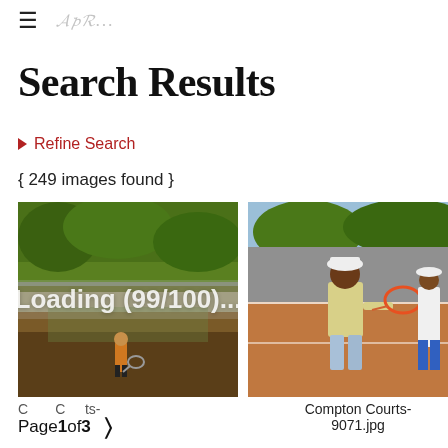≡  [logo/signature]
Search Results
▶ Refine Search
{ 249 images found }
[Figure (photo): Child in orange long-sleeve shirt holding a tennis racket on an outdoor court surrounded by trees and bushes]
Compton Courts-
[Figure (photo): Child in white hat and yellow shirt holding a tennis racket on a red tennis court, with other players visible in background]
Compton Courts-9071.jpg
Loading (99/100)...
Page 1 of 3  >